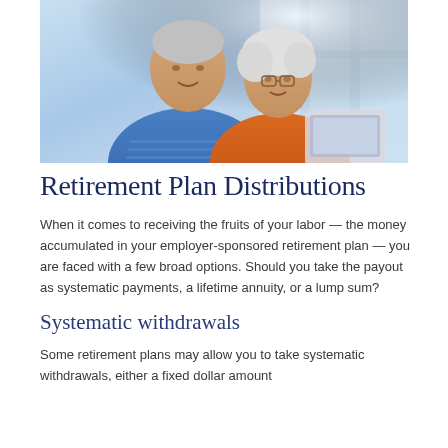[Figure (photo): An elderly Asian couple smiling and looking at a tablet or laptop together, seated near a bright window. The man on the left wears a blue striped polo shirt and the woman on the right wears an orange top and glasses.]
Retirement Plan Distributions
When it comes to receiving the fruits of your labor — the money accumulated in your employer-sponsored retirement plan — you are faced with a few broad options. Should you take the payout as systematic payments, a lifetime annuity, or a lump sum?
Systematic withdrawals
Some retirement plans may allow you to take systematic withdrawals, either a fixed dollar amount